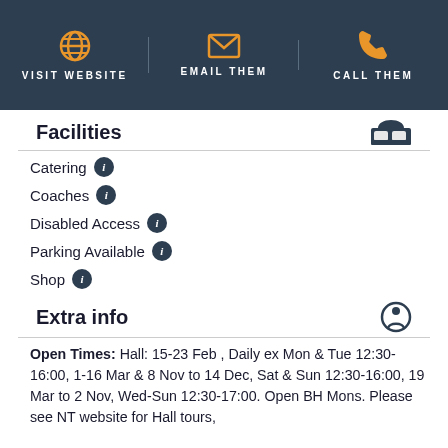VISIT WEBSITE | EMAIL THEM | CALL THEM
Facilities
Catering
Coaches
Disabled Access
Parking Available
Shop
Extra info
Open Times: Hall: 15-23 Feb , Daily ex Mon & Tue 12:30-16:00, 1-16 Mar & 8 Nov to 14 Dec, Sat & Sun 12:30-16:00, 19 Mar to 2 Nov, Wed-Sun 12:30-17:00. Open BH Mons. Please see NT website for Hall tours,